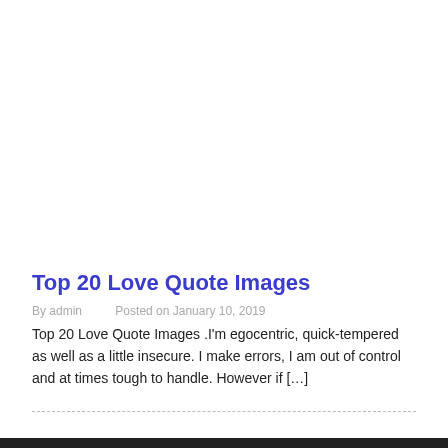Top 20 Love Quote Images
By admin   Posted on January 10, 2019
Top 20 Love Quote Images .I'm egocentric, quick-tempered as well as a little insecure. I make errors, I am out of control and at times tough to handle. However if […]